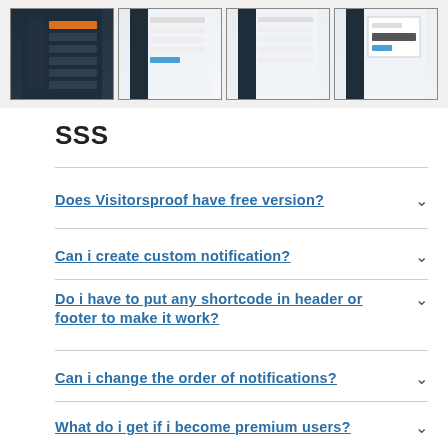[Figure (screenshot): Four thumbnail screenshots of a web application dashboard interface]
SSS
Does Visitorsproof have free version?
Can i create custom notification?
Do i have to put any shortcode in header or footer to make it work?
Can i change the order of notifications?
What do i get if i become premium users?